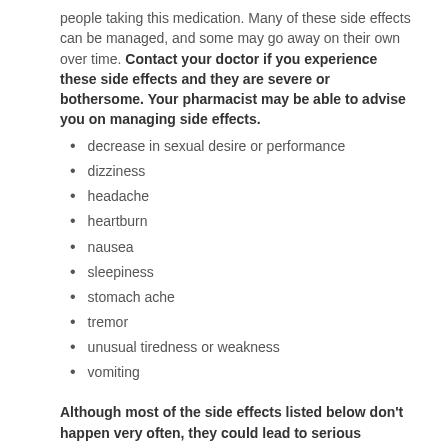people taking this medication. Many of these side effects can be managed, and some may go away on their own over time. Contact your doctor if you experience these side effects and they are severe or bothersome. Your pharmacist may be able to advise you on managing side effects.
decrease in sexual desire or performance
dizziness
headache
heartburn
nausea
sleepiness
stomach ache
tremor
unusual tiredness or weakness
vomiting
Although most of the side effects listed below don't happen very often, they could lead to serious problems if you do not